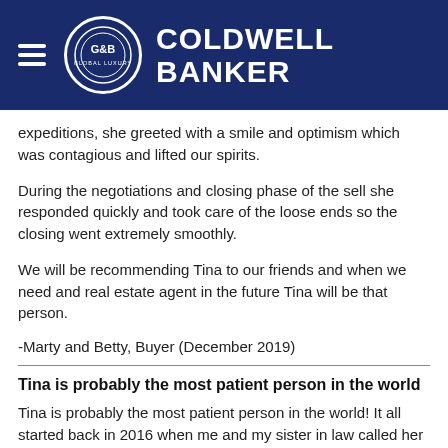Coldwell Banker Global Luxury
expeditions, she greeted with a smile and optimism which was contagious and lifted our spirits.
During the negotiations and closing phase of the sell she responded quickly and took care of the loose ends so the closing went extremely smoothly.
We will be recommending Tina to our friends and when we need and real estate agent in the future Tina will be that person.
-Marty and Betty, Buyer (December 2019)
Tina is probably the most patient person in the world
Tina is probably the most patient person in the world! It all started back in 2016 when me and my sister in law called her up to check out some houses in the area. She was super nice and understanding that it wont be over night process. Tina is not like other realtors that is gonna call you every day and pressure you to